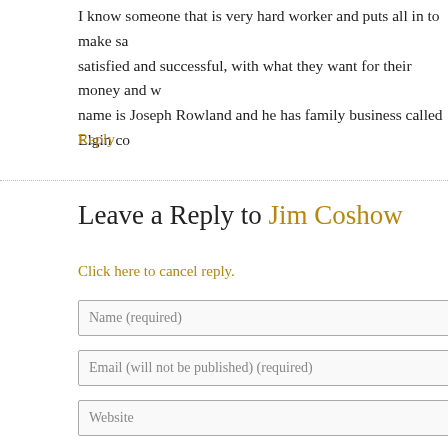I know someone that is very hard worker and puts all in to make satisfied and successful, with what they want for their money and w name is Joseph Rowland and he has family business called Elgin co
Reply
Leave a Reply to Jim Coshow
Click here to cancel reply.
Name (required)
Email (will not be published) (required)
Website